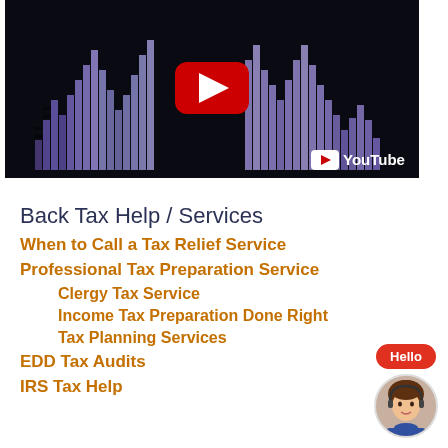[Figure (screenshot): YouTube video thumbnail showing an audio equalizer visualization with purple/blue bar graphs on a dark background, a red YouTube play button in the center, and the YouTube logo in the bottom right corner.]
Back Tax Help / Services
When to Call a Tax Relief Service
Professional Tax Preparation Service
Clergy Tax Service
Income Tax Preparation Done Right
Tax Planning Services
EDD Tax Audits
IRS Tax Help
[Figure (illustration): Chat widget with a red 'Hello' badge and a circular avatar of a female customer service agent with brown hair.]